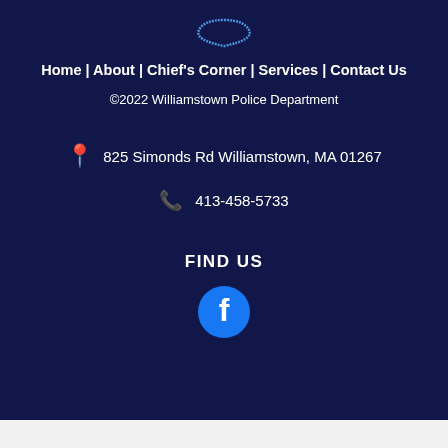[Figure (logo): Williamstown Police Department logo/badge at top, partially visible]
Home | About | Chief's Corner | Services | Contact Us
©2022 Williamstown Police Department
📍 825 Simonds Rd Williamstown, MA 01267
📞 413-458-5733
FIND US
[Figure (logo): Facebook logo icon — blue circle with white 'f']